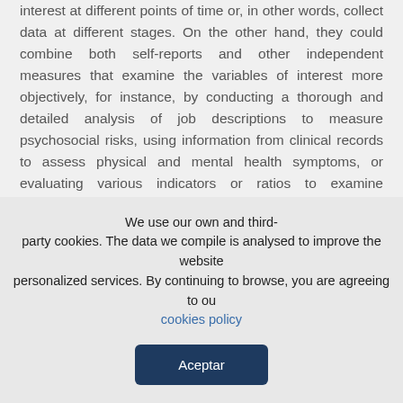interest at different points of time or, in other words, collect data at different stages. On the other hand, they could combine both self-reports and other independent measures that examine the variables of interest more objectively, for instance, by conducting a thorough and detailed analysis of job descriptions to measure psychosocial risks, using information from clinical records to assess physical and mental health symptoms, or evaluating various indicators or ratios to examine performance levels. In addition to overcoming some of the limitations involved in cross-sectional research, such mixed and transdisciplinary approach may offer a valuable opportunity for advancing our understanding of the dynamics involved in the relationships among psychosocial
We use our own and third-party cookies. The data we compile is analysed to improve the website and personalized services. By continuing to browse, you are agreeing to our cookies policy